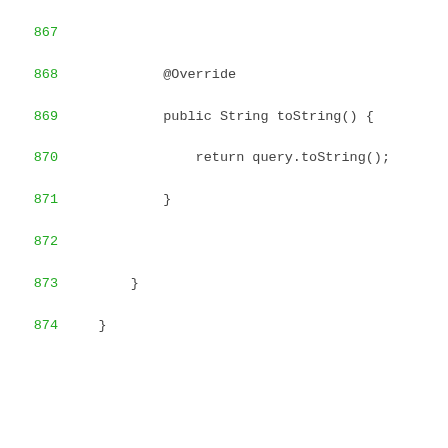867
868    @Override
869    public String toString() {
870        return query.toString();
871    }
872
873  }
874 }